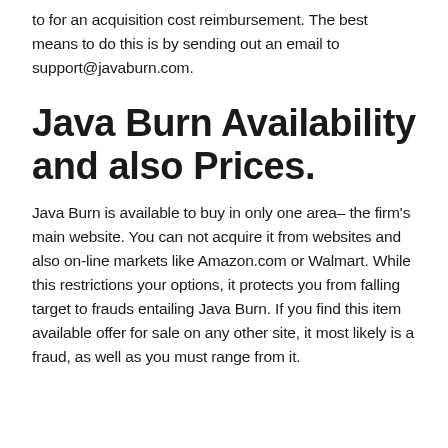to for an acquisition cost reimbursement. The best means to do this is by sending out an email to support@javaburn.com.
Java Burn Availability and also Prices.
Java Burn is available to buy in only one area– the firm's main website. You can not acquire it from websites and also on-line markets like Amazon.com or Walmart. While this restrictions your options, it protects you from falling target to frauds entailing Java Burn. If you find this item available offer for sale on any other site, it most likely is a fraud, as well as you must range from it.